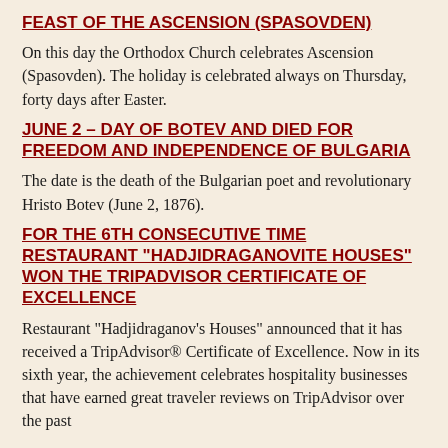FEAST OF THE ASCENSION (SPASOVDEN)
On this day the Orthodox Church celebrates Ascension (Spasovden). The holiday is celebrated always on Thursday, forty days after Easter.
JUNE 2 – DAY OF BOTEV AND DIED FOR FREEDOM AND INDEPENDENCE OF BULGARIA
The date is the death of the Bulgarian poet and revolutionary Hristo Botev (June 2, 1876).
FOR THE 6TH CONSECUTIVE TIME RESTAURANT "HADJIDRAGANOVITE HOUSES" WON THE TRIPADVISOR CERTIFICATE OF EXCELLENCE
Restaurant "Hadjidraganov's Houses" announced that it has received a TripAdvisor® Certificate of Excellence. Now in its sixth year, the achievement celebrates hospitality businesses that have earned great traveler reviews on TripAdvisor over the past